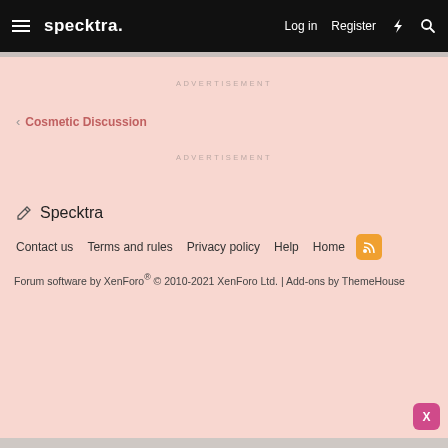specktra. | Log in | Register
ADVERTISEMENT
< Cosmetic Discussion
ADVERTISEMENT
✏ Specktra
Contact us | Terms and rules | Privacy policy | Help | Home
Forum software by XenForo® © 2010-2021 XenForo Ltd. | Add-ons by ThemeHouse